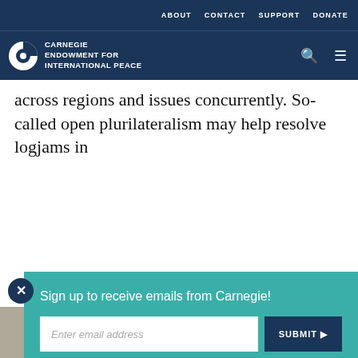ABOUT   CONTACT   SUPPORT   DONATE
[Figure (logo): Carnegie Endowment for International Peace logo with navigation icons]
across regions and issues concurrently. So-called open plurilateralism may help resolve logjams in
[Figure (screenshot): Email signup popup: Sign up to receive emails from Carnegie! with email input and SUBMIT button]
our cookie policy.
[Figure (infographic): Social share bar with print, link, Facebook, Twitter, WhatsApp, Messenger, LinkedIn icons]